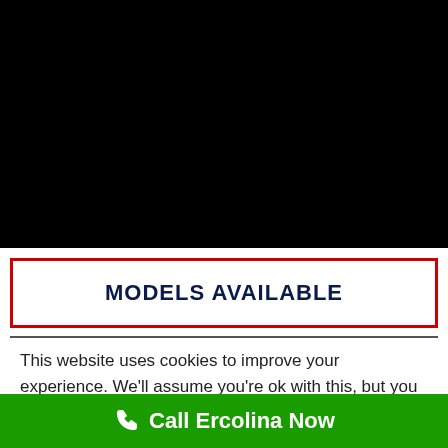[Figure (screenshot): Black rectangular area representing a video or image placeholder at the top of the page]
MODELS AVAILABLE
This website uses cookies to improve your experience. We'll assume you're ok with this, but you can opt-out if you wish.
Call Ercolina Now